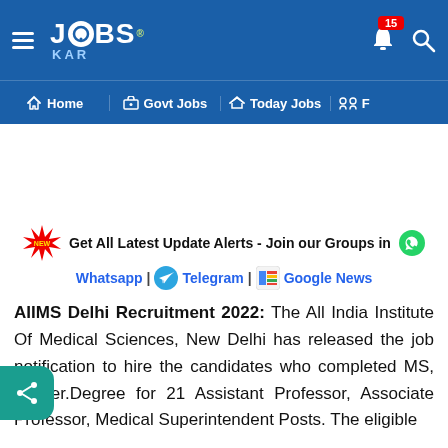[Figure (screenshot): JobsKar website header with logo, hamburger menu, bell notification icon with badge showing 15, and search icon on blue background]
Home | Govt Jobs | Today Jobs | F
Get All Latest Update Alerts - Join our Groups in Whatsapp | Telegram | Google News
AIIMS Delhi Recruitment 2022: The All India Institute Of Medical Sciences, New Delhi has released the job notification to hire the candidates who completed MS, Master.Degree for 21 Assistant Professor, Associate Professor, Medical Superintendent Posts. The eligible